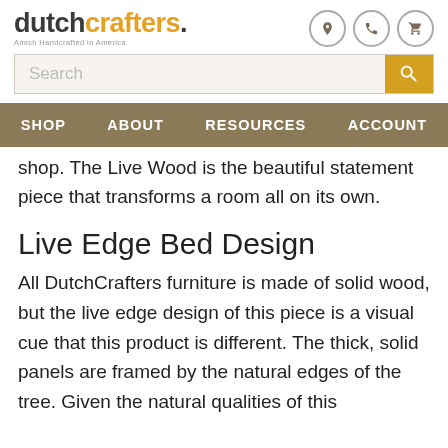dutchcrafters. Amish Handcrafted in America
shop. The Live Wood is the beautiful statement piece that transforms a room all on its own.
Live Edge Bed Design
All DutchCrafters furniture is made of solid wood, but the live edge design of this piece is a visual cue that this product is different. The thick, solid panels are framed by the natural edges of the tree. Given the natural qualities of this